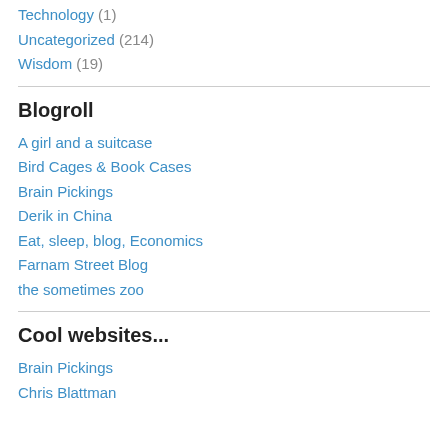Technology (1)
Uncategorized (214)
Wisdom (19)
Blogroll
A girl and a suitcase
Bird Cages & Book Cases
Brain Pickings
Derik in China
Eat, sleep, blog, Economics
Farnam Street Blog
the sometimes zoo
Cool websites...
Brain Pickings
Chris Blattman